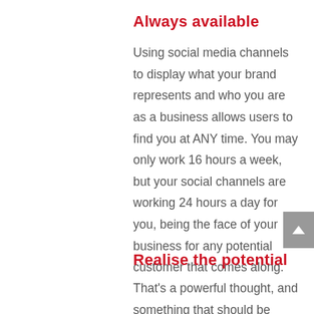Always available
Using social media channels to display what your brand represents and who you are as a business allows users to find you at ANY time. You may only work 16 hours a week, but your social channels are working 24 hours a day for you, being the face of your business for any potential customer that comes along.
Realise the potential
That's a powerful thought, and something that should be highlighted when thinking about digital marketing.